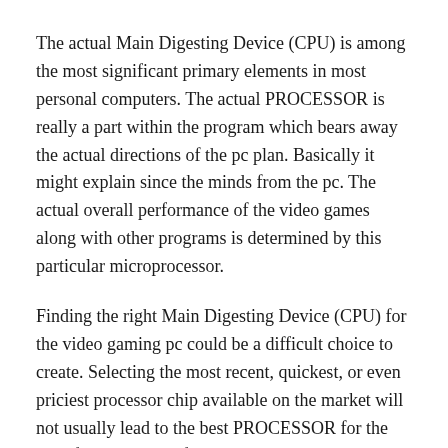The actual Main Digesting Device (CPU) is among the most significant primary elements in most personal computers. The actual PROCESSOR is really a part within the program which bears away the actual directions of the pc plan. Basically it might explain since the minds from the pc. The actual overall performance of the video games along with other programs is determined by this particular microprocessor.
Finding the right Main Digesting Device (CPU) for the video gaming pc could be a difficult choice to create. Selecting the most recent, quickest, or even priciest processor chip available on the market will not usually lead to the best PROCESSOR for the specific program. A few processors are made to make use of a particular or even particular motherboards, therefore the actual PROCESSOR kind